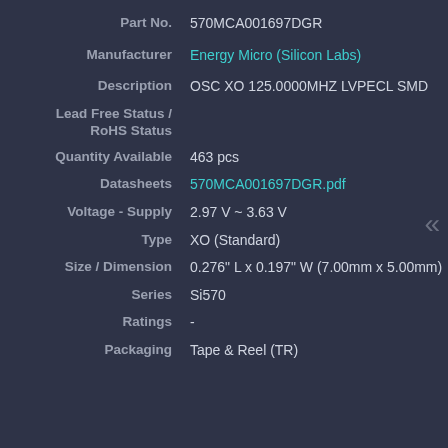| Field | Value |
| --- | --- |
| Part No. | 570MCA001697DGR |
| Manufacturer | Energy Micro (Silicon Labs) |
| Description | OSC XO 125.0000MHZ LVPECL SMD |
| Lead Free Status / RoHS Status |  |
| Quantity Available | 463 pcs |
| Datasheets | 570MCA001697DGR.pdf |
| Voltage - Supply | 2.97 V ~ 3.63 V |
| Type | XO (Standard) |
| Size / Dimension | 0.276" L x 0.197" W (7.00mm x 5.00mm) |
| Series | Si570 |
| Ratings | - |
| Packaging | Tape & Reel (TR) |